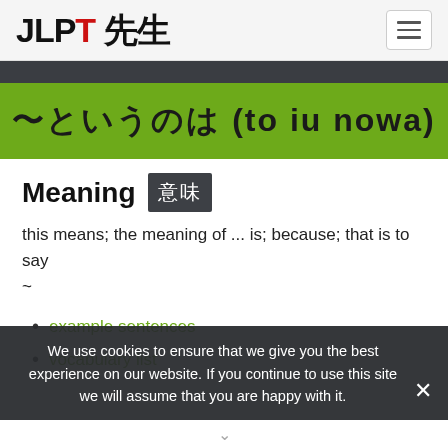JLPT 先生
〜というのは (to iu nowa)
Meaning  意味
this means; the meaning of ... is; because; that is to say
~
example sentences
vocabulary list
We use cookies to ensure that we give you the best experience on our website. If you continue to use this site we will assume that you are happy with it.